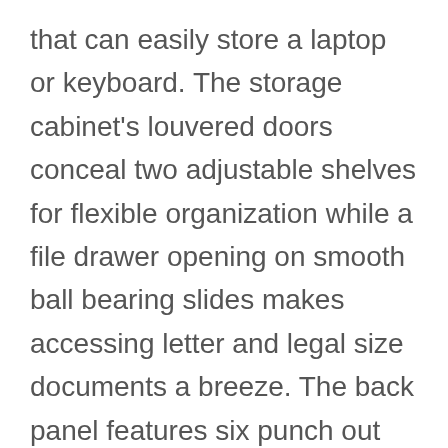that can easily store a laptop or keyboard. The storage cabinet's louvered doors conceal two adjustable shelves for flexible organization while a file drawer opening on smooth ball bearing slides makes accessing letter and legal size documents a breeze. The back panel features six punch out holes for wire management and electronic ventilation, making this a great option to act as a printer stand or laptop charging station. Expanding your office is easy thanks to a broad range